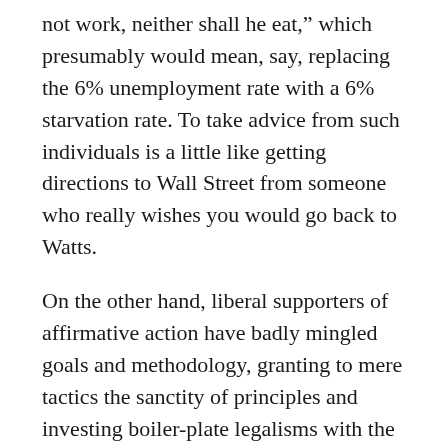not work, neither shall he eat," which presumably would mean, say, replacing the 6% unemployment rate with a 6% starvation rate. To take advice from such individuals is a little like getting directions to Wall Street from someone who really wishes you would go back to Watts.
On the other hand, liberal supporters of affirmative action have badly mingled goals and methodology, granting to mere tactics the sanctity of principles and investing boiler-plate legalisms with the virtue of basic rights.
In fact, affirmative action has been ineffective in many ways. It has failed inner city residents. It has favored middle-class women over poorer